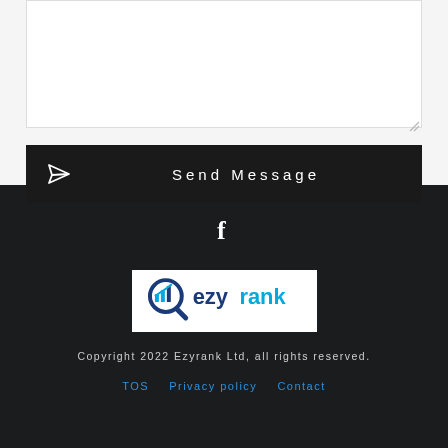[Figure (screenshot): Text area input box with resize handle in the top section]
[Figure (screenshot): Dark 'Send Message' button with paper plane icon]
[Figure (logo): Facebook 'f' icon in white on dark background]
[Figure (logo): Ezyrank logo with magnifying glass and chart icon]
Copyright 2022 Ezyrank Ltd, all rights reserved.
TOS   Privacy policy   Contact